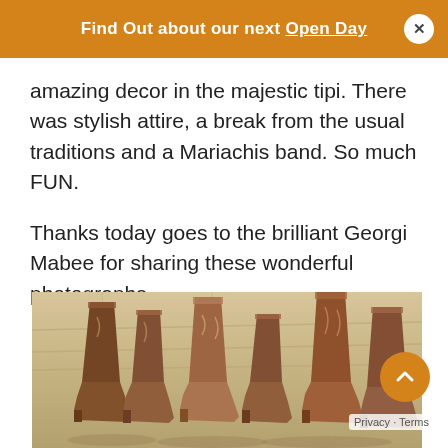Find Out about our next Open Day
amazing decor in the majestic tipi. There was stylish attire, a break from the usual traditions and a Mariachis band. So much FUN.
Thanks today goes to the brilliant Georgi Mabee for sharing these wonderful photographs.
[Figure (photo): Row of brown cowboy/western boots standing on a light wooden plank floor, photographed from the front with a shallow depth of field]